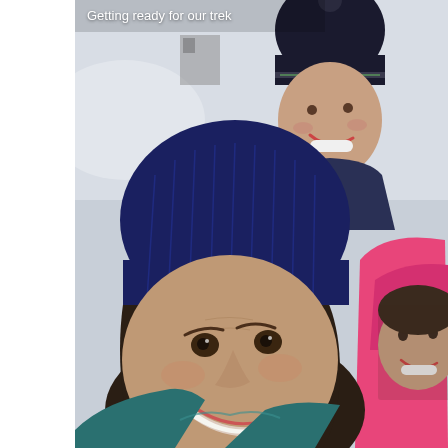[Figure (photo): Selfie photo of three smiling women outdoors in a snowy winter setting. The woman in the foreground wears a navy blue knit beanie and teal jacket. Behind her to the upper left is a woman wearing a black winter hat with green accents. To the right is a third woman wearing a bright pink jacket with hood. Snow and a building are visible in the background. White text caption 'Getting ready for our trek' appears in the upper left of the photo.]